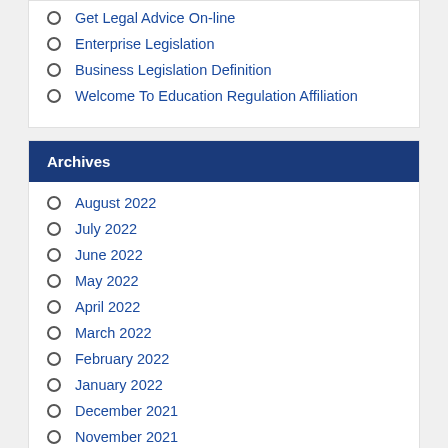Get Legal Advice On-line
Enterprise Legislation
Business Legislation Definition
Welcome To Education Regulation Affiliation
Archives
August 2022
July 2022
June 2022
May 2022
April 2022
March 2022
February 2022
January 2022
December 2021
November 2021
October 2021